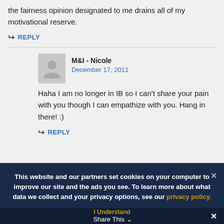the fairness opinion designated to me drains all of my motivational reserve.
REPLY
M&I - Nicole
December 17, 2011
Haha I am no longer in IB so I can't share your pain with you though I can empathize with you. Hang in there! :)
REPLY
This website and our partners set cookies on your computer to improve our site and the ads you see. To learn more about what data we collect and your privacy options, see our privacy policy.
I Understand
Share This